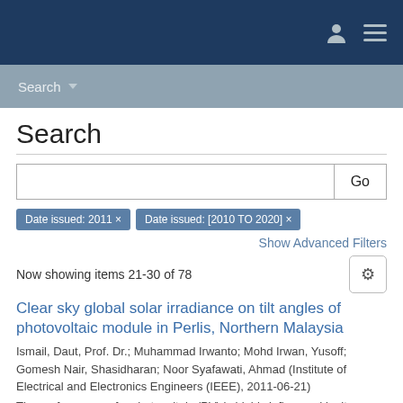Search
Search
Go
Date issued: 2011 ×   Date issued: [2010 TO 2020] ×
Show Advanced Filters
Now showing items 21-30 of 78
Clear sky global solar irradiance on tilt angles of photovoltaic module in Perlis, Northern Malaysia
Ismail, Daut, Prof. Dr.; Muhammad Irwanto; Mohd Irwan, Yusoff; Gomesh Nair, Shasidharan; Noor Syafawati, Ahmad (Institute of Electrical and Electronics Engineers (IEEE), 2011-06-21)
The performance of a photovoltaic (PV) is highly influenced by its